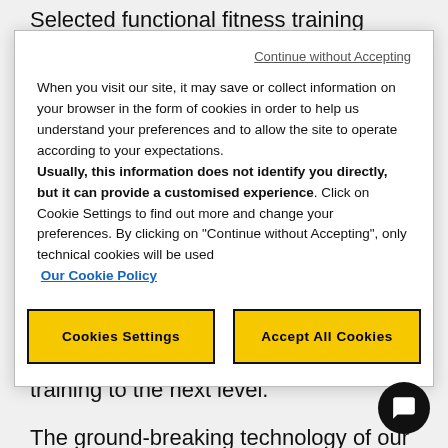Selected functional fitness training equipment allows users and trainers to track performance using our
Continue without Accepting
When you visit our site, it may save or collect information on your browser in the form of cookies in order to help us understand your preferences and to allow the site to operate according to your expectations. Usually, this information does not identify you directly, but it can provide a customised experience. Click on Cookie Settings to find out more and change your preferences. By clicking on "Continue without Accepting", only technical cookies will be used Our Cookie Policy
Cookies Settings
Accept All Cookies
combining innovative and transformational solutions to push your training to the next level.
The ground-breaking technology of our rowing machines features a modal control, allowing you to